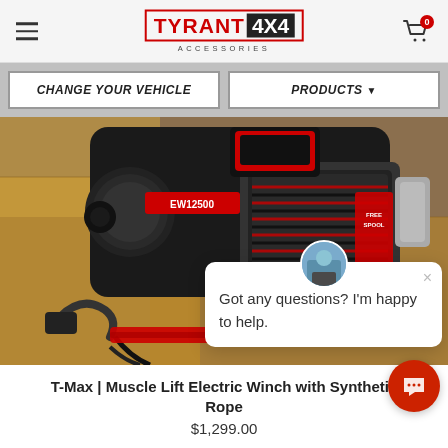TYRANT 4X4 ACCESSORIES
CHANGE YOUR VEHICLE
PRODUCTS
[Figure (photo): T-Max Muscle Lift Electric Winch EW12500 with synthetic rope, black with red accents, shown on cardboard boxes with cables and straps]
Got any questions? I'm happy to help.
T-Max | Muscle Lift Electric Winch with Synthetic Rope
$1,299.00